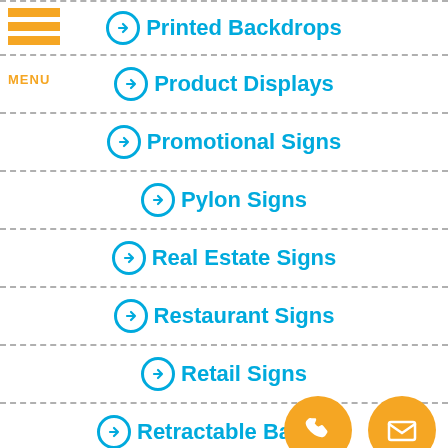Printed Backdrops
Product Displays
Promotional Signs
Pylon Signs
Real Estate Signs
Restaurant Signs
Retail Signs
Retractable Banners